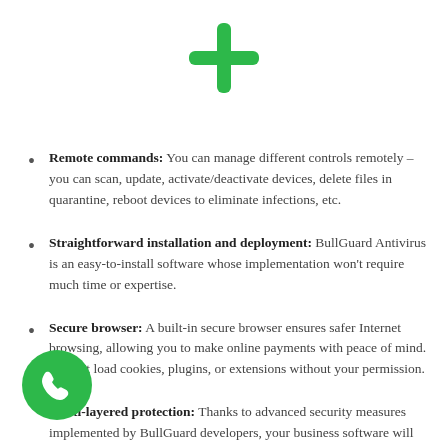[Figure (illustration): Green plus/cross icon centered at top of page]
Remote commands: You can manage different controls remotely – you can scan, update, activate/deactivate devices, delete files in quarantine, reboot devices to eliminate infections, etc.
Straightforward installation and deployment: BullGuard Antivirus is an easy-to-install software whose implementation won't require much time or expertise.
Secure browser: A built-in secure browser ensures safer Internet browsing, allowing you to make online payments with peace of mind. It won't load cookies, plugins, or extensions without your permission.
Multi-layered protection: Thanks to advanced security measures implemented by BullGuard developers, your business software will be safe from
[Figure (illustration): Green circular phone/call button in bottom left corner]